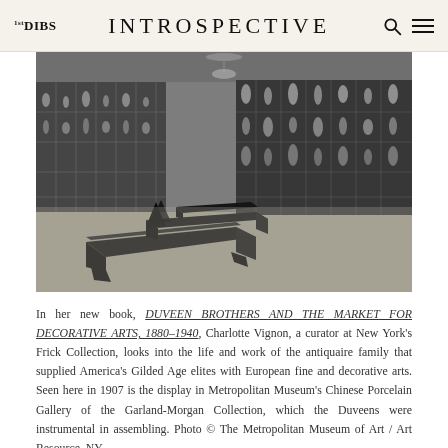1st DIBS   INTROSPECTIVE
[Figure (photo): Black and white photograph of the Metropolitan Museum's Chinese Porcelain Gallery displaying the Garland-Morgan Collection, taken in 1907. The image shows a large gallery room with floor-to-ceiling display cases filled with porcelain pieces along the walls, and dark wooden benches in the foreground on a parquet floor.]
In her new book, DUVEEN BROTHERS AND THE MARKET FOR DECORATIVE ARTS, 1880–1940, Charlotte Vignon, a curator at New York's Frick Collection, looks into the life and work of the antiquaire family that supplied America's Gilded Age elites with European fine and decorative arts. Seen here in 1907 is the display in Metropolitan Museum's Chinese Porcelain Gallery of the Garland-Morgan Collection, which the Duveens were instrumental in assembling. Photo © The Metropolitan Museum of Art / Art Resource, NY